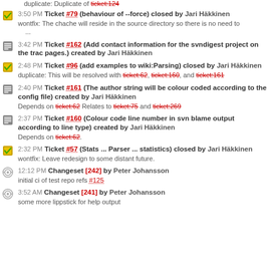duplicate: Duplicate of ticket:124
3:50 PM Ticket #79 (behaviour of --force) closed by Jari Häkkinen
wontfix: The chache will reside in the source directory so there is no need to ...
3:42 PM Ticket #162 (Add contact information for the svndigest project on the trac pages.) created by Jari Häkkinen
2:48 PM Ticket #96 (add examples to wiki:Parsing) closed by Jari Häkkinen
duplicate: This will be resolved with ticket:62, ticket:160, and ticket:161
2:40 PM Ticket #161 (The author string will be colour coded according to the config file) created by Jari Häkkinen
Depends on ticket:62 Relates to ticket:75 and ticket:269
2:37 PM Ticket #160 (Colour code line number in svn blame output according to line type) created by Jari Häkkinen
Depends on ticket:62.
2:32 PM Ticket #57 (Stats ... Parser ... statistics) closed by Jari Häkkinen
wontfix: Leave redesign to some distant future.
12:12 PM Changeset [242] by Peter Johansson
initial ci of test repo refs #125
3:52 AM Changeset [241] by Peter Johansson
some more lippstick for help output